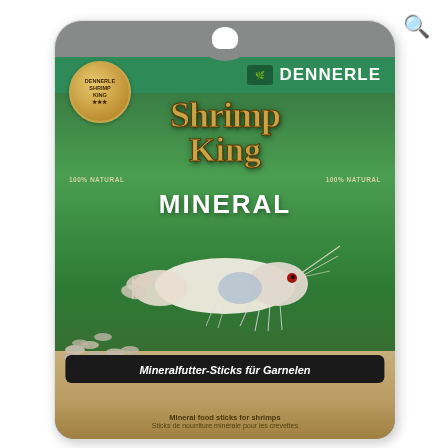[Figure (photo): Product packaging for Dennerle Shrimp King Mineral — a bag of mineral food sticks for shrimp (Garnelen). The packaging shows the Shrimp King logo in gold lettering, a white/cream freshwater shrimp on green aquatic plants, and mineral pellets at the bottom. A black banner reads 'Mineralfutter-Sticks für Garnelen'. The Dennerle brand name appears in a green banner at the top right.]